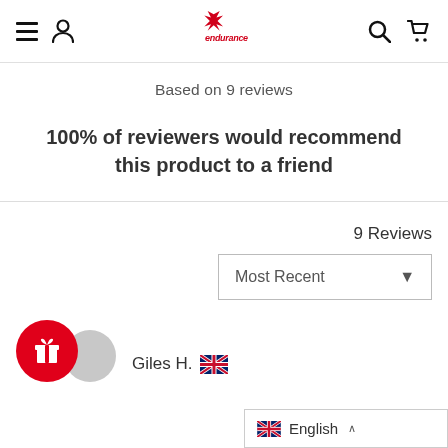Endurance website navigation bar with hamburger menu, user icon, Endurance logo, search icon, and cart icon
Based on 9 reviews
100% of reviewers would recommend this product to a friend
9 Reviews
Most Recent
Giles H.
English